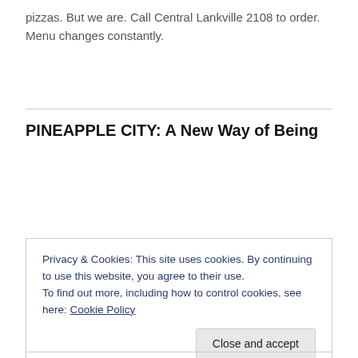pizzas. But we are. Call Central Lankville 2108 to order. Menu changes constantly.
PINEAPPLE CITY: A New Way of Being
Privacy & Cookies: This site uses cookies. By continuing to use this website, you agree to their use.
To find out more, including how to control cookies, see here: Cookie Policy
Close and accept